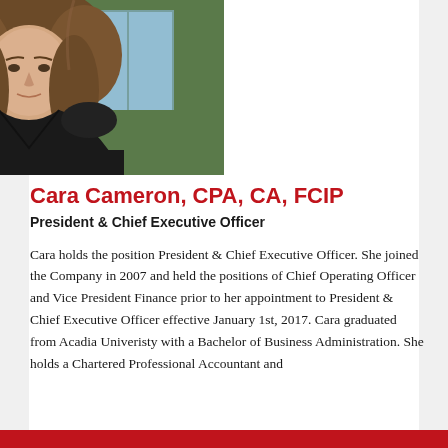[Figure (photo): Professional headshot photo of Cara Cameron, a woman with light brown hair wearing a black V-neck top, photographed outdoors with greenery in background]
Cara Cameron, CPA, CA, FCIP
President & Chief Executive Officer
Cara holds the position President & Chief Executive Officer. She joined the Company in 2007 and held the positions of Chief Operating Officer and Vice President Finance prior to her appointment to President & Chief Executive Officer effective January 1st, 2017. Cara graduated from Acadia Univeristy with a Bachelor of Business Administration. She holds a Chartered Professional Accountant and